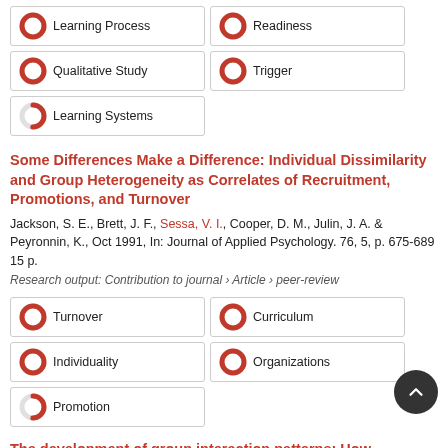100% Learning Process
100% Readiness
100% Qualitative Study
100% Trigger
60% Learning Systems
Some Differences Make a Difference: Individual Dissimilarity and Group Heterogeneity as Correlates of Recruitment, Promotions, and Turnover
Jackson, S. E., Brett, J. F., Sessa, V. I., Cooper, D. M., Julin, J. A. & Peyronnin, K., Oct 1991, In: Journal of Applied Psychology. 76, 5, p. 675-689 15 p.
Research output: Contribution to journal › Article › peer-review
100% Turnover
100% Curriculum
100% Individuality
100% Organizations
60% Promotion
The development of group interaction patterns: How